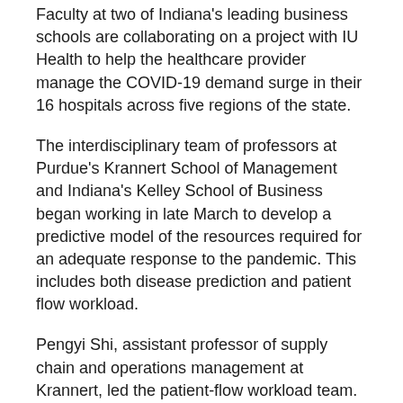Faculty at two of Indiana's leading business schools are collaborating on a project with IU Health to help the healthcare provider manage the COVID-19 demand surge in their 16 hospitals across five regions of the state.
The interdisciplinary team of professors at Purdue's Krannert School of Management and Indiana's Kelley School of Business began working in late March to develop a predictive model of the resources required for an adequate response to the pandemic. This includes both disease prediction and patient flow workload.
Pengyi Shi, assistant professor of supply chain and operations management at Krannert, led the patient-flow workload team.
“In my role, I led a team to develop a model of how COVID-19 patients move around the hospital and what resources they use during their stay, such as medical/surgical and ICU beds, ventilators and ECMOs, nurse staff, and PPE,” says Shi. “I developed a model based on a queueing network and programmed it in Excel with easily modifiable parameters for practitioners to evaluate different potential scenarios and operational interventions.”